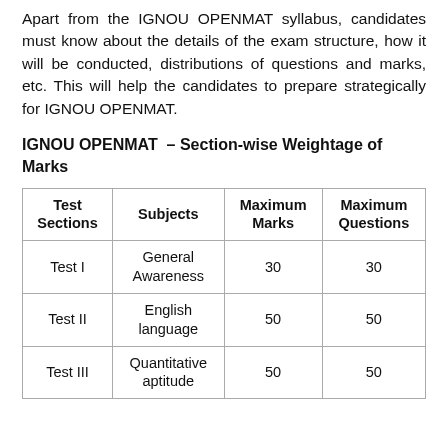Apart from the IGNOU OPENMAT syllabus, candidates must know about the details of the exam structure, how it will be conducted, distributions of questions and marks, etc. This will help the candidates to prepare strategically for IGNOU OPENMAT.
IGNOU OPENMAT – Section-wise Weightage of Marks
| Test Sections | Subjects | Maximum Marks | Maximum Questions |
| --- | --- | --- | --- |
| Test I | General Awareness | 30 | 30 |
| Test II | English language | 50 | 50 |
| Test III | Quantitative aptitude | 50 | 50 |